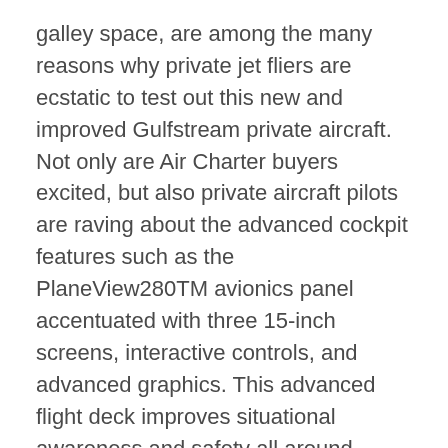galley space, are among the many reasons why private jet fliers are ecstatic to test out this new and improved Gulfstream private aircraft. Not only are Air Charter buyers excited, but also private aircraft pilots are raving about the advanced cockpit features such as the PlaneView280TM avionics panel accentuated with three 15-inch screens, interactive controls, and advanced graphics. This advanced flight deck improves situational awareness and safety all around providing passengers the confidence in knowing their pilots are working with the most advanced technology in private aviation.
The Gulfstream G280 will be available to the public by the end of this year. In the mean time,